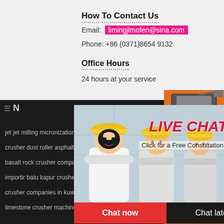How To Contact Us
Email: limingjlmofen@sina.com
Phone: +86 (0371)8654 9132
Office Hours
24 hours at your service
[Figure (screenshot): Live Chat popup overlay showing workers in hard hats with 'LIVE CHAT - Click for a Free Consultation' text, Chat now and Chat later buttons]
jet jet milling micronization
crusher dust roller asphalt crusher crushing
basalt rock crusher companies
importir batu kapur crusher di libya
crusher companies in kuwait
limestone crusher machine qatar
[Figure (screenshot): Orange sidebar with mining machinery images, Enjoy 3% discount, Click to Chat, Enquiry, and limingjlmofen@sina.com contact info]